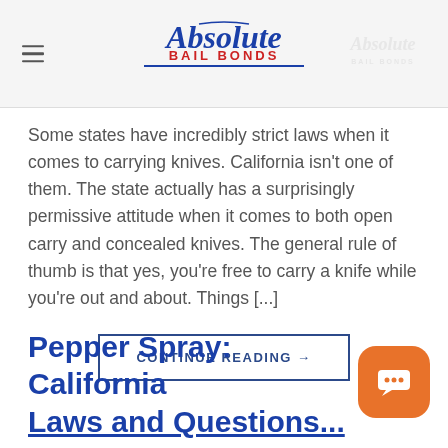Absolute Bail Bonds
Some states have incredibly strict laws when it comes to carrying knives. California isn't one of them. The state actually has a surprisingly permissive attitude when it comes to both open carry and concealed knives. The general rule of thumb is that yes, you're free to carry a knife while you're out and about. Things [...]
CONTINUE READING →
Pepper Spray: California Laws and Questions...